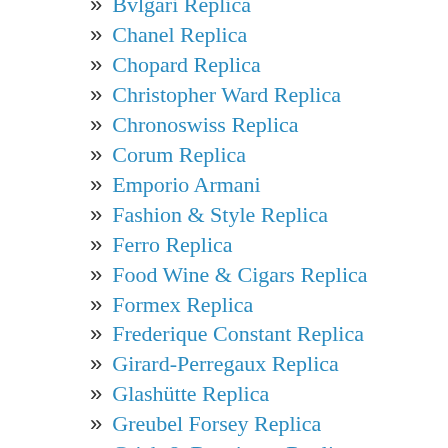Bvlgari Replica
Chanel Replica
Chopard Replica
Christopher Ward Replica
Chronoswiss Replica
Corum Replica
Emporio Armani
Fashion & Style Replica
Ferro Replica
Food Wine & Cigars Replica
Formex Replica
Frederique Constant Replica
Girard-Perregaux Replica
Glashütte Replica
Greubel Forsey Replica
Grieb & Benzinger Replica